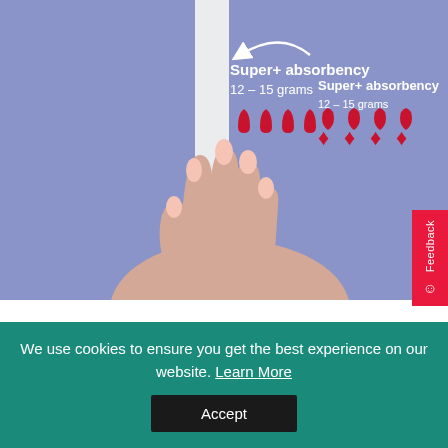[Figure (photo): A hand with pink manicured nails holding a white tampon applicator against a periwinkle/blue-grey background. A white curved arrow points to the tampon. Text overlay reads 'Super+ absorbency / 12 - 15 grams' with four red water-drop icons below indicating absorbency level.]
We use cookies to ensure you get the best experience on our website. Learn More
Accept